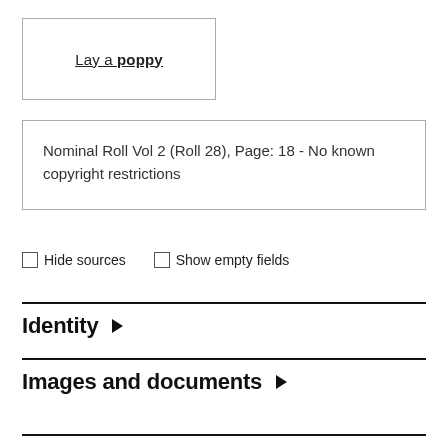Lay a poppy
Nominal Roll Vol 2 (Roll 28), Page: 18 - No known copyright restrictions
Hide sources   Show empty fields
Identity ▶
Images and documents ▶